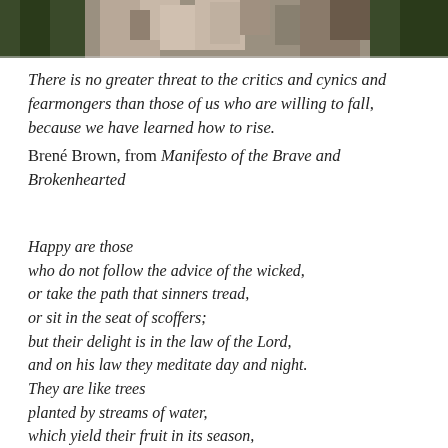[Figure (photo): Partial photo of an animal (possibly a wolf or dog) outdoors among trees, cropped at the top of the page.]
There is no greater threat to the critics and cynics and fearmongers than those of us who are willing to fall, because we have learned how to rise. Brené Brown, from Manifesto of the Brave and Brokenhearted
Happy are those
who do not follow the advice of the wicked,
or take the path that sinners tread,
or sit in the seat of scoffers;
but their delight is in the law of the Lord,
and on his law they meditate day and night.
They are like trees
planted by streams of water,
which yield their fruit in its season,
and their leaves do not wither.
In all that they do, they prosper. Psalm 1:1-3